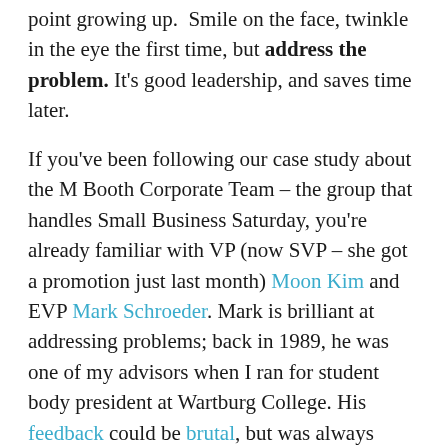point growing up. Smile on the face, twinkle in the eye the first time, but address the problem. It's good leadership, and saves time later.
If you've been following our case study about the M Booth Corporate Team – the group that handles Small Business Saturday, you're already familiar with VP (now SVP – she got a promotion just last month) Moon Kim and EVP Mark Schroeder. Mark is brilliant at addressing problems; back in 1989, he was one of my advisors when I ran for student body president at Wartburg College. His feedback could be brutal, but was always helpful, wise and delivered with the best of intentions.
Nearly 30 years later, Moon talks about Mark's ability to address problems and maintain a high morale team: "The number one reason I've stayed